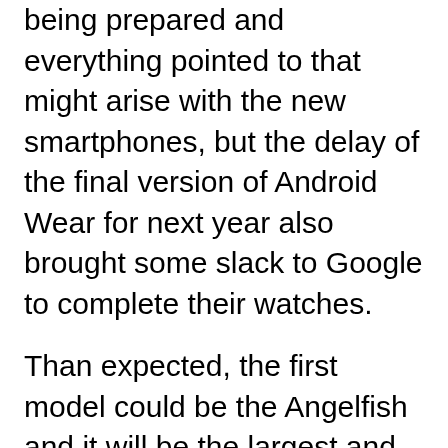being prepared and everything pointed to that might arise with the new smartphones, but the delay of the final version of Android Wear for next year also brought some slack to Google to complete their watches.
Than expected, the first model could be the Angelfish and it will be the largest and remember the Moto 360 it will have LTE connection, GPS and heart sensor. It is also equipped with 3 buttons and a circular crown like many other watches have. There will also be 2 more buttons, but for now, it is not known that what functions those buttons will have.